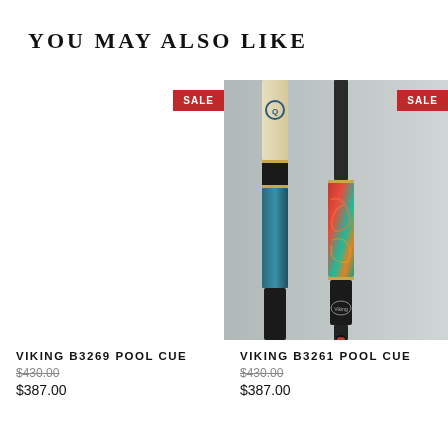YOU MAY ALSO LIKE
[Figure (photo): White empty area with SALE badge — placeholder for Viking B3269 Pool Cue product image]
VIKING B3269 POOL CUE
$430.00 (original price, struck through)
$387.00
[Figure (photo): Photo of Viking B3261 Pool Cue showing two pool cues — one teal/blue and one black with red/green dragon artwork inlay and gold rings — with SALE badge]
VIKING B3261 POOL CUE
$430.00 (original price, struck through)
$387.00